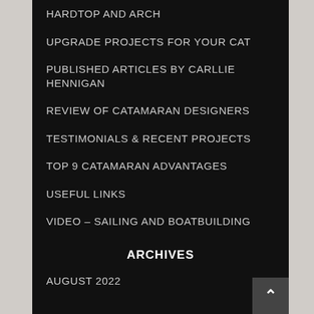HARDTOP AND ARCH
UPGRADE PROJECTS FOR YOUR CAT
PUBLISHED ARTICLES BY CARLLIE HENNIGAN
REVIEW OF CATAMARAN DESIGNERS
TESTIMONIALS & RECENT PROJECTS
TOP 9 CATAMARAN ADVANTAGES
USEFUL LINKS
VIDEO – SAILING AND BOATBUILDING
ARCHIVES
AUGUST 2022